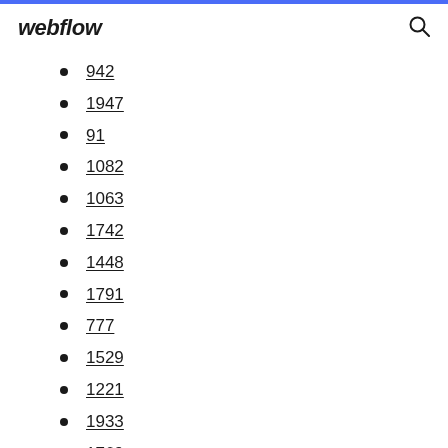webflow
942
1947
91
1082
1063
1742
1448
1791
777
1529
1221
1933
1769